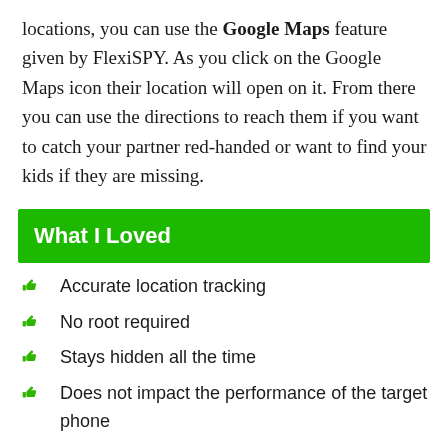locations, you can use the Google Maps feature given by FlexiSPY. As you click on the Google Maps icon their location will open on it. From there you can use the directions to reach them if you want to catch your partner red-handed or want to find your kids if they are missing.
What I Loved
Accurate location tracking
No root required
Stays hidden all the time
Does not impact the performance of the target phone